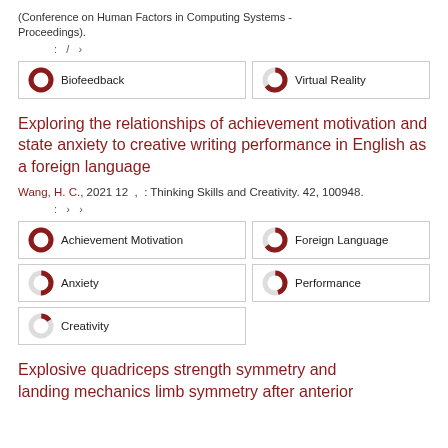(Conference on Human Factors in Computing Systems - Proceedings).
: / >
[Figure (donut-chart): 100% donut icon for Biofeedback keyword]
[Figure (donut-chart): 65% donut icon for Virtual Reality keyword]
Exploring the relationships of achievement motivation and state anxiety to creative writing performance in English as a foreign language
Wang, H. C., 2021 12 , : Thinking Skills and Creativity. 42, 100948.
: > >
[Figure (donut-chart): 100% donut icon for Achievement Motivation keyword]
[Figure (donut-chart): 65% donut icon for Foreign Language keyword]
[Figure (donut-chart): 50% donut icon for Anxiety keyword]
[Figure (donut-chart): 45% donut icon for Performance keyword]
[Figure (donut-chart): 15% donut icon for Creativity keyword]
Explosive quadriceps strength symmetry and landing mechanics limb symmetry after anterior